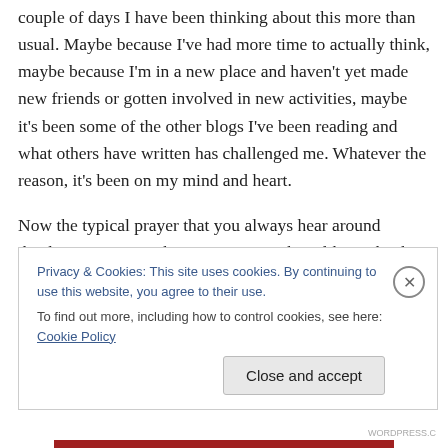couple of days I have been thinking about this more than usual. Maybe because I've had more time to actually think, maybe because I'm in a new place and haven't yet made new friends or gotten involved in new activities, maybe it's been some of the other blogs I've been reading and what others have written has challenged me. Whatever the reason, it's been on my mind and heart.

Now the typical prayer that you always hear around thanksgiving is one that may go something like… thank you for our family & friends, those that are here with us
Privacy & Cookies: This site uses cookies. By continuing to use this website, you agree to their use.
To find out more, including how to control cookies, see here: Cookie Policy
Close and accept